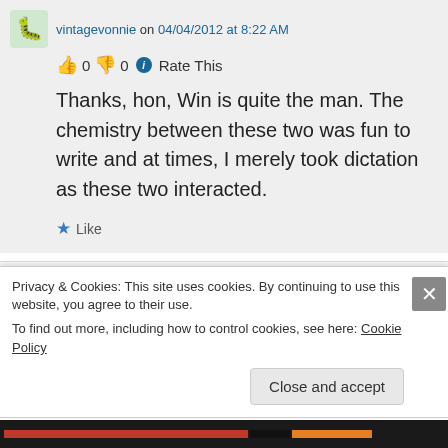vintagevonnie on 04/04/2012 at 8:22 AM
👍 0 👎 0 ℹ Rate This
Thanks, hon, Win is quite the man. The chemistry between these two was fun to write and at times, I merely took dictation as these two interacted.
★ Like
vintagevonnie on 04/03/2012 at 6:28 PM
Privacy & Cookies: This site uses cookies. By continuing to use this website, you agree to their use.
To find out more, including how to control cookies, see here: Cookie Policy
Close and accept